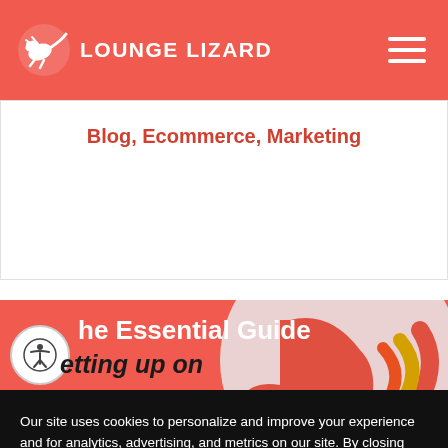LOUNGE LIZARD
Blog, Ecommerce, Marketing
[Figure (screenshot): Promotional banner image with coral/red background showing text 'The Essential Guide' and 'Getting up on' with a hand pointing and decorative concentric arc shapes on the right side]
Our site uses cookies to personalize and improve your experience and for analytics, advertising, and metrics on our site. By closing this message box or continuing to use our site, you agree to our use of cookies. To learn more, please see our Privacy Policy and Cookie Policy. Edit Cookie settings
ACCEPT